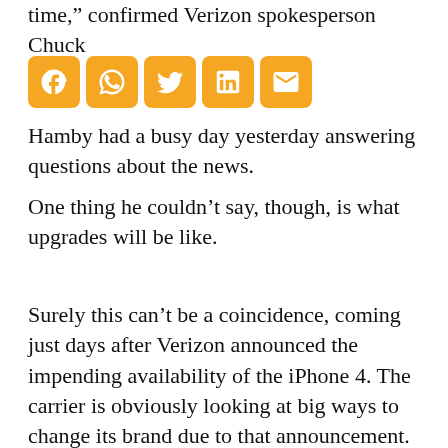time," confirmed Verizon spokesperson Chuck Hamby in an interview with The Star-Ledger. Hamby had a busy day yesterday answering questions about the news.
[Figure (other): Social media sharing icons: Facebook, WhatsApp, Twitter, LinkedIn, Email]
One thing he couldn't say, though, is what upgrades will be like.
Surely this can't be a coincidence, coming just days after Verizon announced the impending availability of the iPhone 4. The carrier is obviously looking at big ways to change its brand due to that announcement.
The new upgrade program is “still going to